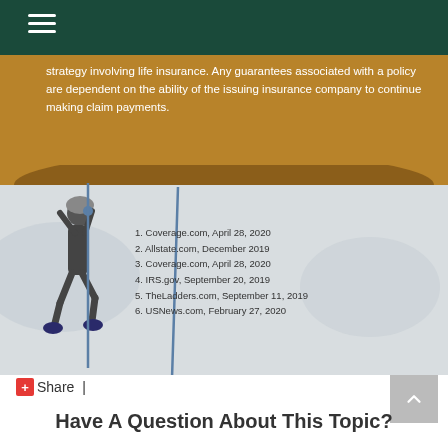strategy involving life insurance. Any guarantees associated with a policy are dependent on the ability of the issuing insurance company to continue making claim payments.
[Figure (illustration): Illustration of a person climbing a rope hanging from a large brown disc/platform, against a grey background, with footnote references listed beside the climber.]
1. Coverage.com, April 28, 2020
2. Allstate.com, December 2019
3. Coverage.com, April 28, 2020
4. IRS.gov, September 20, 2019
5. TheLadders.com, September 11, 2019
6. USNews.com, February 27, 2020
Share  |
Have A Question About This Topic?